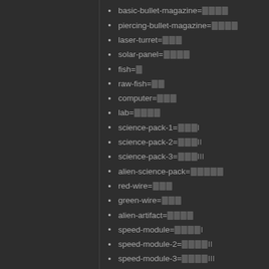basic-bullet-magazine=🀫🀫🀫🀫
piercing-bullet-magazine=🀫🀫🀫🀫
laser-turret=🀫🀫🀫
solar-panel=🀫🀫🀫🀫
fish=🀫
raw-fish=🀫🀫
computer=🀫🀫🀫
lab=🀫🀫🀫🀫
science-pack-1=🀫🀫🀫I
science-pack-2=🀫🀫🀫II
science-pack-3=🀫🀫🀫III
alien-science-pack=🀫🀫🀫🀫🀫
red-wire=🀫🀫🀫
green-wire=🀫🀫🀫
alien-artifact=🀫🀫🀫🀫
speed-module=🀫🀫🀫🀫I
speed-module-2=🀫🀫🀫🀫II
speed-module-3=🀫🀫🀫🀫III
productivity-module=🀫🀫🀫🀫I